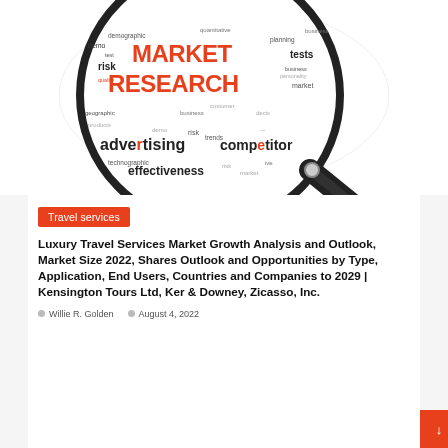[Figure (illustration): Market research word cloud shown through a magnifying glass. The words include MARKET RESEARCH (large, in orange/red), risk, demographic, geographic, products, advertising, trends, competitor, technographic, effectiveness, business, customer, tests, personality, market, planning, and other marketing-related terms. The magnifying glass has a black handle.]
Travel services
Luxury Travel Services Market Growth Analysis and Outlook, Market Size 2022, Shares Outlook and Opportunities by Type, Application, End Users, Countries and Companies to 2029 | Kensington Tours Ltd, Ker & Downey, Zicasso, Inc.
Willie R. Golden   August 4, 2022